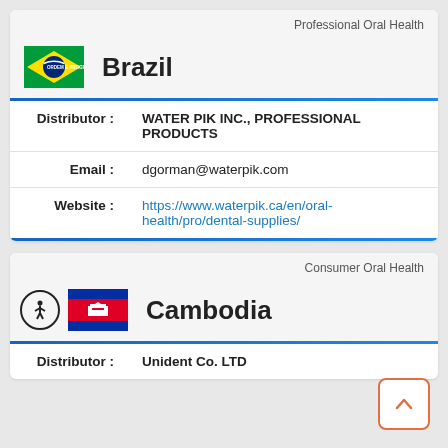Professional Oral Health
[Figure (illustration): Brazil national flag — green background with yellow diamond and blue circle]
Brazil
| Distributor : | WATER PIK INC., PROFESSIONAL PRODUCTS |
| Email : | dgorman@waterpik.com |
| Website : | https://www.waterpik.ca/en/oral-health/pro/dental-supplies/ |
Consumer Oral Health
[Figure (illustration): Cambodia national flag — red background with blue stripes and white Angkor Wat temple]
Cambodia
| Distributor : | Unident Co. LTD |